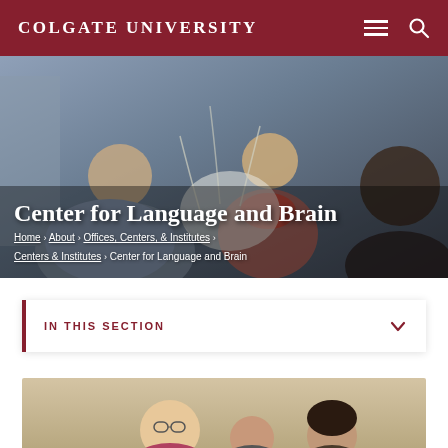COLGATE UNIVERSITY
[Figure (photo): Hero banner photo showing researchers working with EEG equipment, with two people leaning over a third person seated, attaching electrode cap. Overlaid with title and breadcrumb navigation.]
Center for Language and Brain
Home › About › Offices, Centers, & Institutes › Centers & Institutes › Center for Language and Brain
IN THIS SECTION
[Figure (photo): Photo of three people (researchers/faculty) smiling, partially cropped at bottom of page, against a warm beige background.]